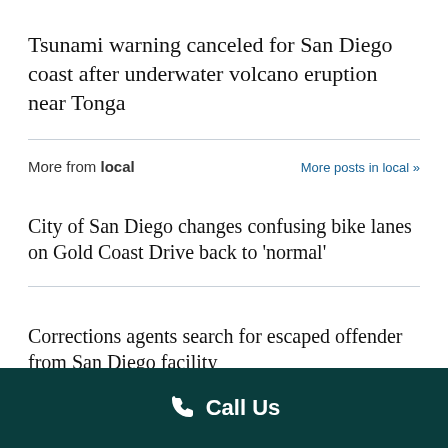Tsunami warning canceled for San Diego coast after underwater volcano eruption near Tonga
More from local   More posts in local »
City of San Diego changes confusing bike lanes on Gold Coast Drive back to 'normal'
Corrections agents search for escaped offender from San Diego facility
More mild days into the start of the weekend
Man wounded in Midway District shooting
Call Us